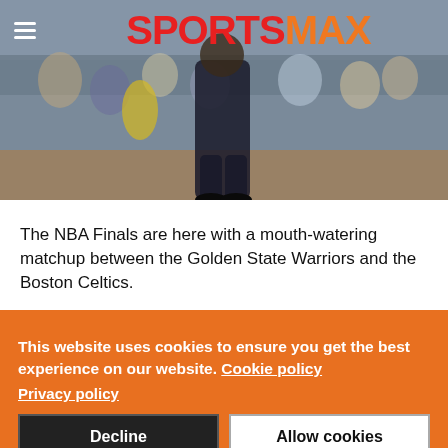[Figure (photo): SportsMax website screenshot showing basketball arena photo with player and crowd, SportsMax logo in red and orange at top, hamburger menu icon top left]
The NBA Finals are here with a mouth-watering matchup between the Golden State Warriors and the Boston Celtics.
This website uses cookies to ensure you get the best experience on our website. Cookie policy
Privacy policy
Decline
Allow cookies